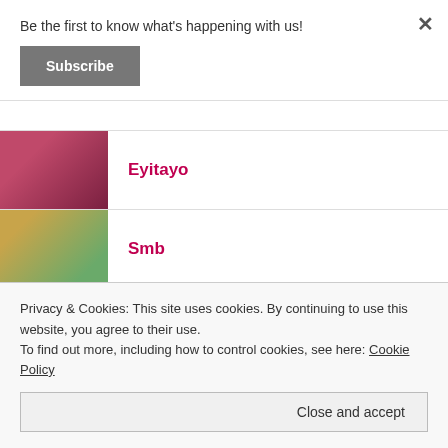Be the first to know what's happening with us!
Subscribe
Eyitayo
Smb
Nelson Vincent
Oladi Gabisi
Privacy & Cookies: This site uses cookies. By continuing to use this website, you agree to their use. To find out more, including how to control cookies, see here: Cookie Policy
Close and accept